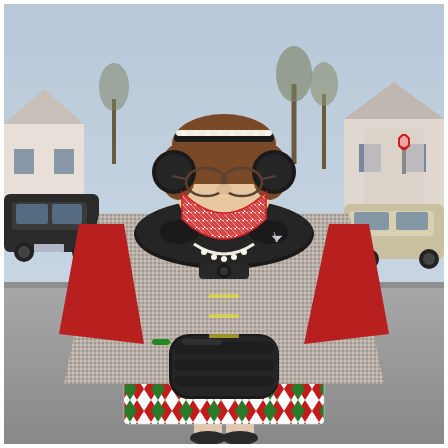[Figure (photo): A woman standing on a residential street wearing a festive Christmas-themed outfit. She wears a gray herringbone cape/poncho with a black fur collar, red long sleeves visible underneath, and a black fur muff. She has a candy-cane striped face mask, black ear muffs, and a pearl headband. Her skirt features a colorful harlequin diamond pattern in red, green, and white. The background shows a suburban street with parked cars and bare trees.]